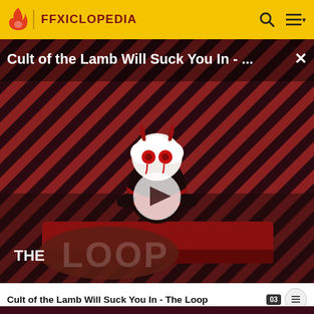FFXICLOPEDIA
[Figure (screenshot): Video thumbnail for 'Cult of the Lamb Will Suck You In - The Loop' showing a cartoon lamb character with red eyes on a diagonal red and dark striped background with THE LOOP branding. A play button is centered over the image.]
Cult of the Lamb Will Suck You In - The Loop
MORE FFXICLOPEDIA
Pl...